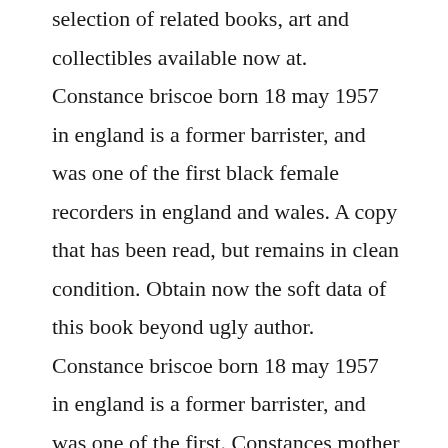selection of related books, art and collectibles available now at. Constance briscoe born 18 may 1957 in england is a former barrister, and was one of the first black female recorders in england and wales. A copy that has been read, but remains in clean condition. Obtain now the soft data of this book beyond ugly author. Constance briscoe born 18 may 1957 in england is a former barrister, and was one of the first. Constances mother systematically abused her daughter, both physically and emotionally, throughout her childhood. It was constances mother who told her she was ugly.